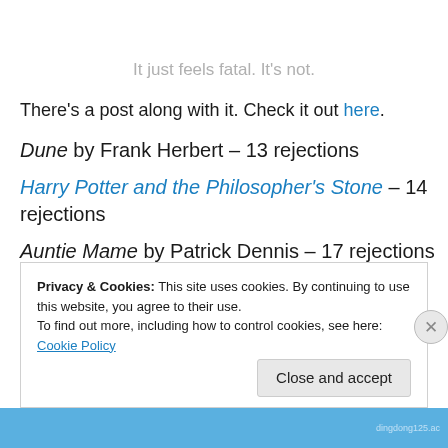It just feels fatal. It's not.
There's a post along with it. Check it out here.
Dune by Frank Herbert – 13 rejections
Harry Potter and the Philosopher's Stone – 14 rejections
Auntie Mame by Patrick Dennis – 17 rejections
Privacy & Cookies: This site uses cookies. By continuing to use this website, you agree to their use. To find out more, including how to control cookies, see here: Cookie Policy
Close and accept